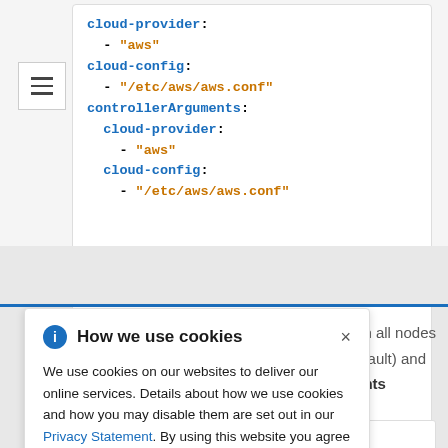[Figure (screenshot): Code block showing YAML configuration with cloud-provider and cloud-config keys, values including 'aws' and '/etc/aws/aws.conf', and controllerArguments section]
We use cookies on our websites to deliver our online services. Details about how we use cookies and how you may disable them are set out in our Privacy Statement. By using this website you agree to our use of cookies.
on all nodes efault) and ents